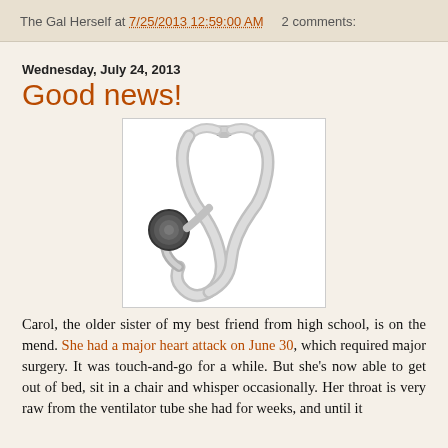The Gal Herself at 7/25/2013 12:59:00 AM    2 comments:
Wednesday, July 24, 2013
Good news!
[Figure (illustration): A stethoscope illustration with a circular chest piece (dark gray/charcoal) on the left and silver/gray Y-shaped tubing forming a large loop, with earpieces at the top.]
Carol, the older sister of my best friend from high school, is on the mend. She had a major heart attack on June 30, which required major surgery. It was touch-and-go for a while. But she's now able to get out of bed, sit in a chair and whisper occasionally. Her throat is very raw from the ventilator tube she had for weeks, and until it